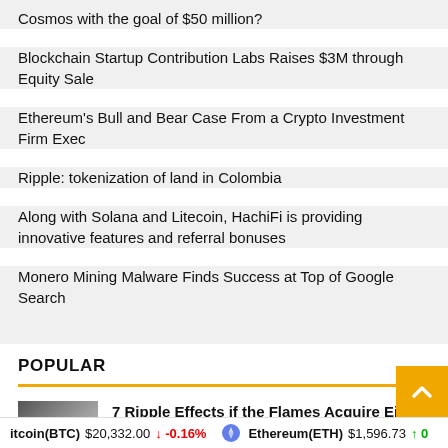Cosmos with the goal of $50 million?
Blockchain Startup Contribution Labs Raises $3M through Equity Sale
Ethereum's Bull and Bear Case From a Crypto Investment Firm Exec
Ripple: tokenization of land in Colombia
Along with Solana and Litecoin, HachiFi is providing innovative features and referral bonuses
Monero Mining Malware Finds Success at Top of Google Search
POPULAR
7 Ripple Effects if the Flames Acquire Eichel
Bitcoin(BTC) $20,332.00 ↓ -0.16%   Ethereum(ETH) $1,596.73 ↑ 0